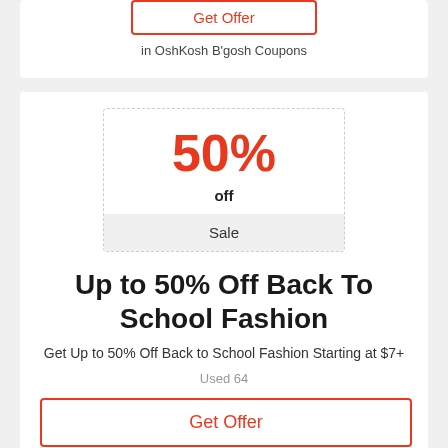in OshKosh B'gosh Coupons
50% off
Sale
Up to 50% Off Back To School Fashion
Get Up to 50% Off Back to School Fashion Starting at $7+
Used 64
Get Offer
in OshKosh B'gosh Coupons